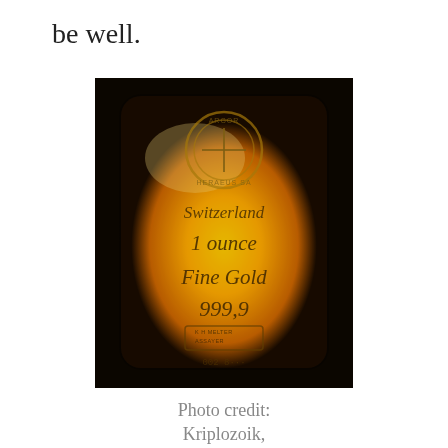be well.
[Figure (photo): A gold bar from Argor-Heraeus SA Switzerland, 1 ounce Fine Gold 999.9, with a glowing orange-gold light, showing a circular emblem at the top and a MELTER ASSAYER mark near the bottom.]
Photo credit: Kriplozoik, Wikimedia Commons